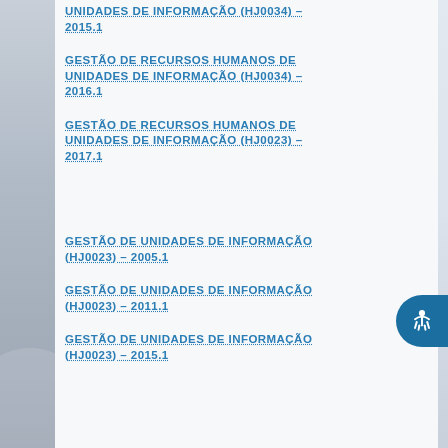UNIDADES DE INFORMAÇÃO (HJ0034) – 2015.1
GESTÃO DE RECURSOS HUMANOS DE UNIDADES DE INFORMAÇÃO (HJ0034) – 2016.1
GESTÃO DE RECURSOS HUMANOS DE UNIDADES DE INFORMAÇÃO (HJ0023) – 2017.1
GESTÃO DE UNIDADES DE INFORMAÇÃO (HJ0023) – 2005.1
GESTÃO DE UNIDADES DE INFORMAÇÃO (HJ0023) – 2011.1
GESTÃO DE UNIDADES DE INFORMAÇÃO (HJ0023) – 2015.1